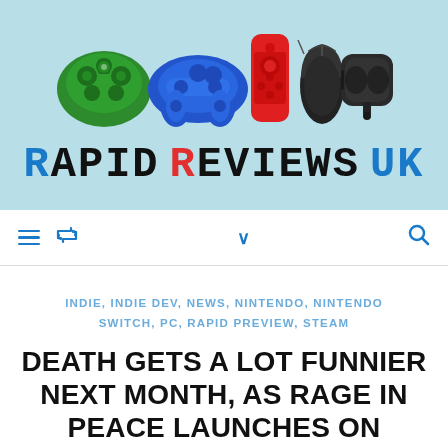[Figure (logo): Rapid Reviews UK logo banner with gaming controller icons (Xbox, PS5, Nintendo Switch, gaming mouse, VR headset) on light blue background, with 'RAPID REVIEWS UK' text in pixel/block font below]
≡  ↺  ∨  🔍
INDIE, INDIE DEV, NEWS, NINTENDO, NINTENDO SWITCH, PC, RAPID PREVIEW, STEAM
DEATH GETS A LOT FUNNIER NEXT MONTH, AS RAGE IN PEACE LAUNCHES ON NOVEMBER 8TH